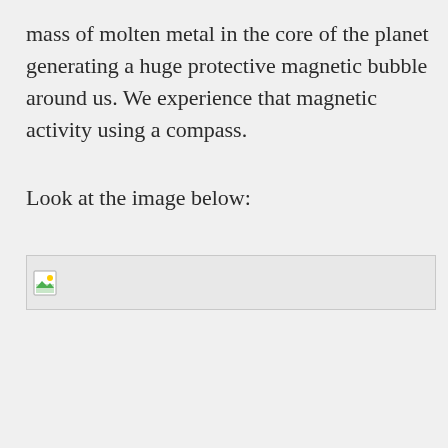mass of molten metal in the core of the planet generating a huge protective magnetic bubble around us. We experience that magnetic activity using a compass.
Look at the image below:
[Figure (photo): Broken/missing image placeholder — a small broken image icon on a light grey background, image failed to load]